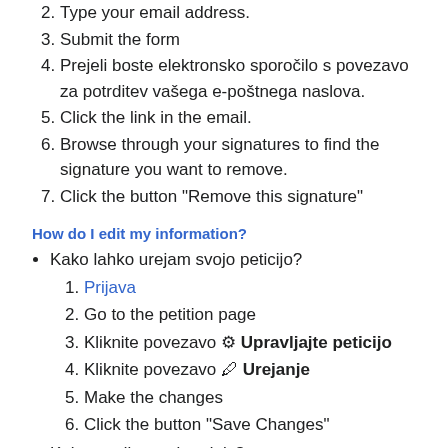2. Type your email address.
3. Submit the form
4. Prejeli boste elektronsko sporočilo s povezavo za potrditev vašega e-poštnega naslova.
5. Click the link in the email.
6. Browse through your signatures to find the signature you want to remove.
7. Click the button "Remove this signature"
How do I edit my information?
Kako lahko urejam svojo peticijo?
1. Prijava
2. Go to the petition page
3. Kliknite povezavo ⚙ Upravljajte peticijo
4. Kliknite povezavo 🖊 Urejanje
5. Make the changes
6. Click the button "Save Changes"
Kako uredim svoj podpis?